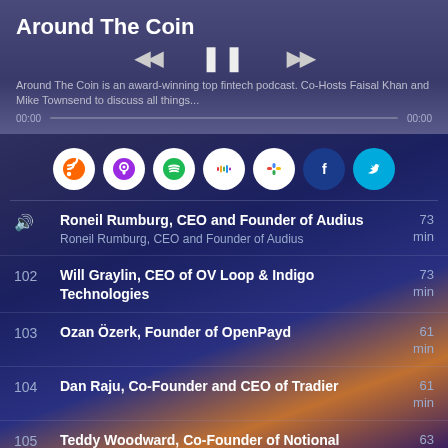Around The Coin
Around The Coin is an award-winning top fintech podcast. Co-Hosts Faisal Khan and Mike Townsend to discuss all things...
[Figure (screenshot): Podcast player interface with rewind, pause, fast-forward controls and progress bar showing 00:00 on both ends]
[Figure (infographic): Row of social/platform share icons: RSS (orange), Apple Podcasts (purple), Spotify (green), Stitcher (multicolor), Google Podcasts (multicolor dots), Facebook (dark blue), Twitter (cyan)]
Roneil Rumburg, CEO and Founder of Audius — Roneil Rumburg, CEO and Founder of Audius — 73 min
102 — Will Graylin, CEO of OV Loop & Indigo Technologies — 73 min
103 — Ozan Özerk, Founder of OpenPayd — 61 min
104 — Dan Raju, Co-Founder and CEO of Tradier — 61 min
105 — Teddy Woodward, Co-Founder of Notional Finance — 63